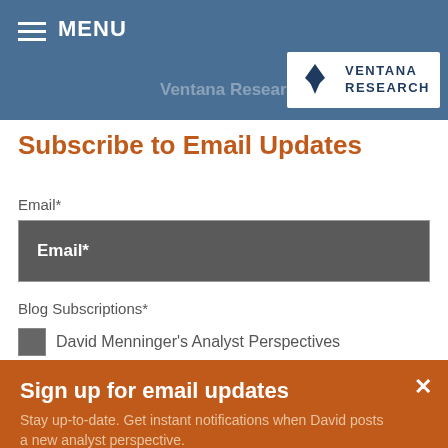MENU | Ventana Research
[Figure (logo): Ventana Research logo with stylized V icon and text VENTANA RESEARCH]
Subscribe to Email Updates
Email*
Email*
Blog Subscriptions*
David Menninger's Analyst Perspectives
Sign up for email updates
Stay up-to-date. Get instant notifications when David posts a new analyst perspective.
Subscribe now